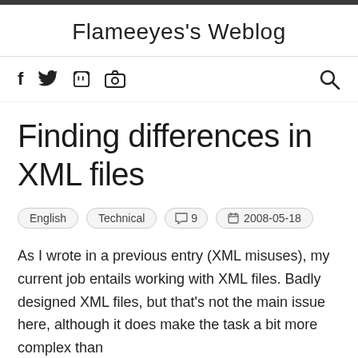Flameeyes's Weblog
Finding differences in XML files
English   Technical   9   2008-05-18
As I wrote in a previous entry (XML misuses), my current job entails working with XML files. Badly designed XML files, but that's not the main issue here, although it does make the task a bit more complex than